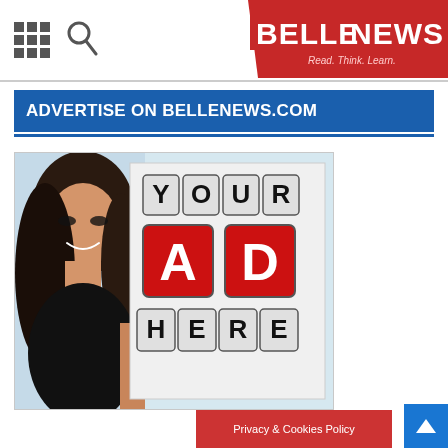BELLENEWS — Read. Think. Learn.
ADVERTISE ON BELLENEWS.COM
[Figure (photo): Advertisement placeholder image showing a woman peeking from behind a sign with the text YOUR AD HERE in 3D block letters (red and black/white).]
Privacy & Cookies Policy